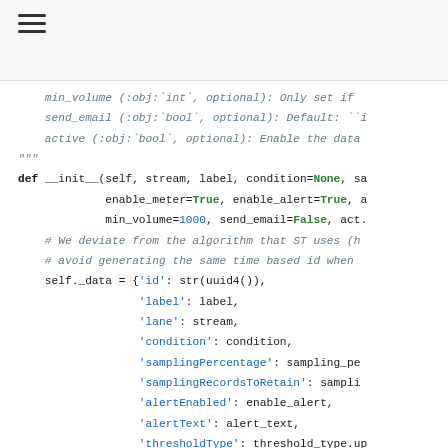[Figure (screenshot): Python source code showing __init__ method definition and @property decorator with code for initializing self._data dictionary]
min_volume (:obj:`int`, optional): Only set if
send_email (:obj:`bool`, optional): Default: ``
active (:obj:`bool`, optional): Enable the data
"""
def __init__(self, stream, label, condition=None, s
             enable_meter=True, enable_alert=True,
             min_volume=1000, send_email=False, act
    # We deviate from the algorithm that ST uses (h
    # avoid generating the same time based id when
    self._data = {'id': str(uuid4()),
                  'label': label,
                  'lane': stream,
                  'condition': condition,
                  'samplingPercentage': sampling_pe
                  'samplingRecordsToRetain': sampli
                  'alertEnabled': enable_alert,
                  'alertText': alert_text,
                  'thresholdType': threshold_type.u
                  'thresholdValue': threshold_value
                  'minVolume': min_volume,
                  'sendEmail': send_email,
                  'meterEnabled': enable_meter,
                  'enabled': active}

@property
def active(self):
    """Returns if the rule is active or not.